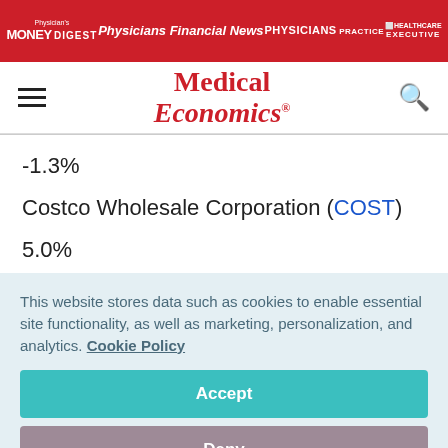Physician's Money Digest | Physicians Financial News | Physicians Practice | Healthcare Executive
[Figure (logo): Medical Economics logo with red text, serif italic font]
-1.3%
Costco Wholesale Corporation (COST)
5.0%
This website stores data such as cookies to enable essential site functionality, as well as marketing, personalization, and analytics. Cookie Policy
Accept
Deny